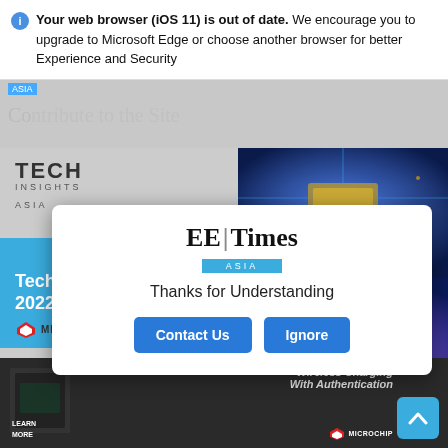Your web browser (iOS 11) is out of date. We encourage you to upgrade to Microsoft Edge or choose another browser for better Experience and Security
[Figure (screenshot): EE Times Asia website screenshot in background showing logo, navigation bar, and Tech Insights 2022 advertisement with Microchip branding]
EE Times ASIA
Thanks for Understanding
Contact Us
Ignore